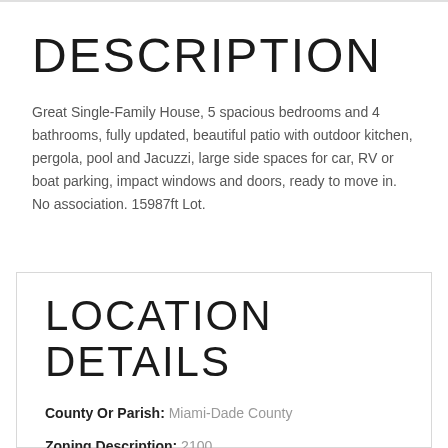DESCRIPTION
Great Single-Family House, 5 spacious bedrooms and 4 bathrooms, fully updated, beautiful patio with outdoor kitchen, pergola, pool and Jacuzzi, large side spaces for car, RV or boat parking, impact windows and doors, ready to move in. No association. 15987ft Lot.
LOCATION DETAILS
County Or Parish: Miami-Dade County
Zoning Description: 2100